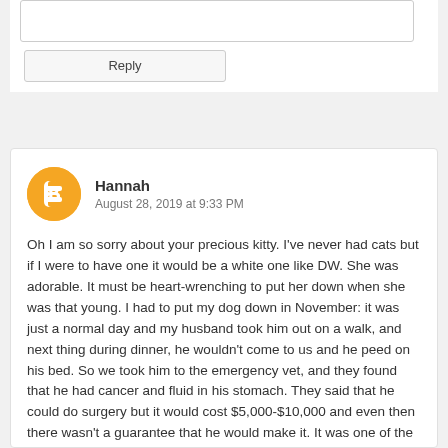[Figure (other): Text input textarea box for comment reply]
Reply
[Figure (other): Blogger avatar icon - orange circle with white B symbol]
Hannah
August 28, 2019 at 9:33 PM
Oh I am so sorry about your precious kitty. I've never had cats but if I were to have one it would be a white one like DW. She was adorable. It must be heart-wrenching to put her down when she was that young. I had to put my dog down in November: it was just a normal day and my husband took him out on a walk, and next thing during dinner, he wouldn't come to us and he peed on his bed. So we took him to the emergency vet, and they found that he had cancer and fluid in his stomach. They said that he could do surgery but it would cost $5,000-$10,000 and even then there wasn't a guarantee that he would make it. It was one of the hardest things we had to do. And my sister put her dog down in June for cancer too. Just rest in the comfort that you gave DW the